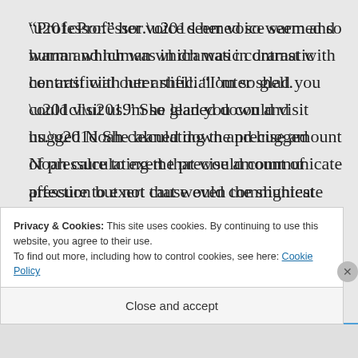“Professor.” her voice seemed so warm and human which was in dramatic contrast with her artificial outer shell. “I’m so glad you could visit us.” She leaned down and hugged Noah calculating the precise amount of pressure to exert that would communicate affection but not cause even the slightest injury. Then she sat
Privacy & Cookies: This site uses cookies. By continuing to use this website, you agree to their use.
To find out more, including how to control cookies, see here: Cookie Policy
Close and accept